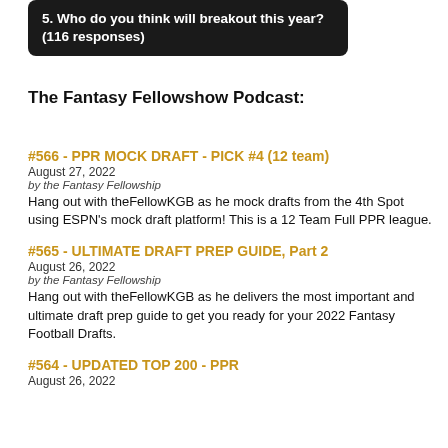[Figure (screenshot): Dark rounded rectangle banner with text: '5. Who do you think will breakout this year? (116 responses)']
The Fantasy Fellowshow Podcast:
#566 - PPR MOCK DRAFT - PICK #4 (12 team)
August 27, 2022
by the Fantasy Fellowship
Hang out with theFellowKGB as he mock drafts from the 4th Spot using ESPN's mock draft platform!  This is a 12 Team Full PPR league.
#565 - ULTIMATE DRAFT PREP GUIDE, Part 2
August 26, 2022
by the Fantasy Fellowship
Hang out with theFellowKGB as he delivers the most important and ultimate draft prep guide to get you ready for your 2022 Fantasy Football Drafts.
#564 - UPDATED TOP 200 - PPR
August 26, 2022